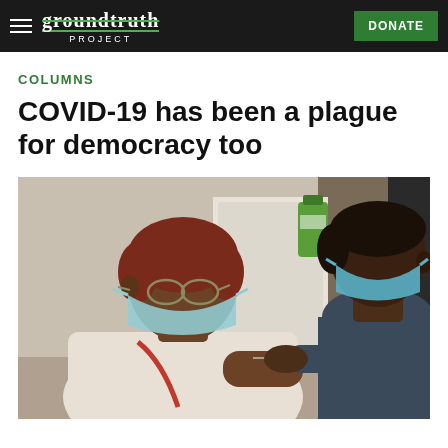groundtruth PROJECT  DONATE
COLUMNS
COVID-19 has been a plague for democracy too
[Figure (photo): An elderly woman wearing a light blue surgical mask and glasses receives a COVID-19 vaccine injection in her upper arm from a healthcare worker wearing a blue surgical mask and dark scrubs. The setting appears to be a medical clinic. A green bottle of sanitizer is visible in the background.]